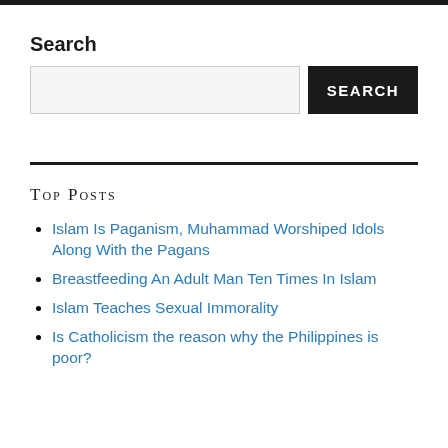Search
[Figure (other): Search input box with a SEARCH button]
TOP POSTS
Islam Is Paganism, Muhammad Worshiped Idols Along With the Pagans
Breastfeeding An Adult Man Ten Times In Islam
Islam Teaches Sexual Immorality
Is Catholicism the reason why the Philippines is poor?